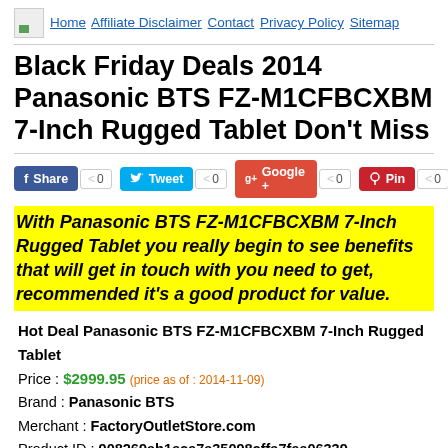Home Affiliate Disclaimer Contact Privacy Policy Sitemap
Black Friday Deals 2014 Panasonic BTS FZ-M1CFBCXBM 7-Inch Rugged Tablet Don't Miss
With Panasonic BTS FZ-M1CFBCXBM 7-Inch Rugged Tablet you really begin to see benefits that will get in touch with you need to get, recommended it's a good product for value.
Hot Deal Panasonic BTS FZ-M1CFBCXBM 7-Inch Rugged Tablet
Price : $2999.95 (price as of : 2014-11-09)
Brand : Panasonic BTS
Merchant : FactoryOutletStore.com
Product ID : 908269ab1ece7a35098cffa7fee06339